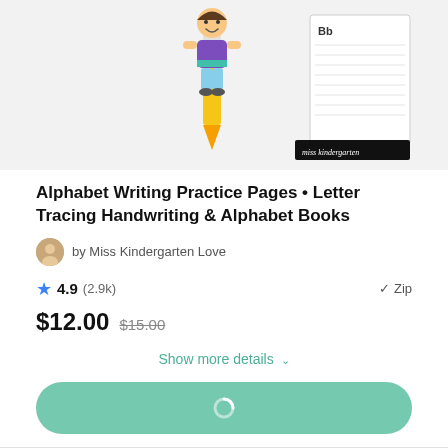[Figure (illustration): Product thumbnail showing a cartoon child holding a pencil next to alphabet worksheets on a light gray background]
Alphabet Writing Practice Pages • Letter Tracing Handwriting & Alphabet Books
by Miss Kindergarten Love
4.9 (2.9k)  ✓ Zip
$12.00  $15.00
Show more details ˅
Loading button (spinner)